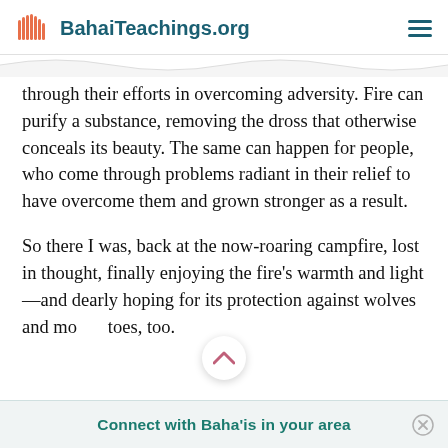BahaiTeachings.org
through their efforts in overcoming adversity. Fire can purify a substance, removing the dross that otherwise conceals its beauty. The same can happen for people, who come through problems radiant in their relief to have overcome them and grown stronger as a result.
So there I was, back at the now-roaring campfire, lost in thought, finally enjoying the fire’s warmth and light—and dearly hoping for its protection against wolves and mo…toes, too.
Connect with Baha’is in your area